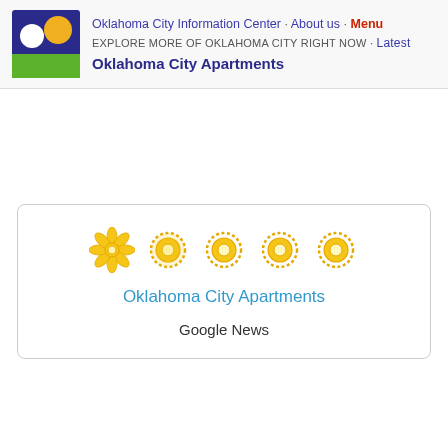Oklahoma City Information Center · About us · Menu
EXPLORE MORE OF OKLAHOMA CITY RIGHT NOW · Latest
Oklahoma City Apartments
[Figure (logo): Oklahoma City Information Center logo: dark blue square background with white circle and yellow/orange circle on top half, green rectangle on bottom half]
Oklahoma City Apartments
Google News